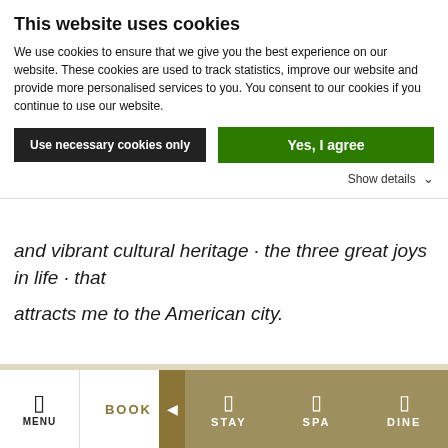This website uses cookies
We use cookies to ensure that we give you the best experience on our website. These cookies are used to track statistics, improve our website and provide more personalised services to you. You consent to our cookies if you continue to use our website.
Use necessary cookies only | Yes, I agree
Show details
and vibrant cultural heritage · the three great joys in life · that attracts me to the American city.
MENU | BOOK | STAY | SPA | DINE